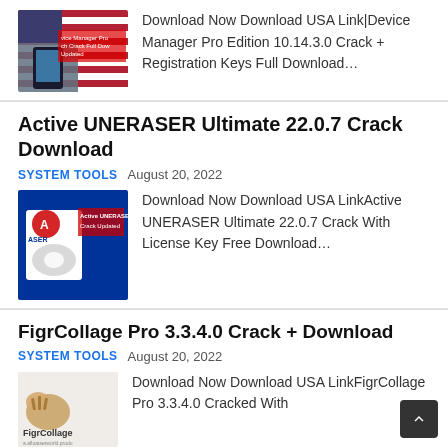[Figure (screenshot): Thumbnail image with US flag and device/phone graphic with red overlay text 'Device Manager Pro Crack Full Download Updated']
Download Now Download USA Link|Device Manager Pro Edition 10.14.3.0 Crack + Registration Keys Full Download…
Active UNERASER Ultimate 22.0.7 Crack Download
SYSTEM TOOLS   August 20, 2022
[Figure (screenshot): Thumbnail showing Active UNERASER Ultimate box with blue background and red/white label 'Active UNERASER Utu Crack Updated']
Download Now Download USA LinkActive UNERASER Ultimate 22.0.7 Crack With License Key Free Download…
FigrCollage Pro 3.3.4.0 Crack + Download
SYSTEM TOOLS   August 20, 2022
[Figure (screenshot): Thumbnail showing FigrCollage logo with tiger and text 'FigrCollage' and small URL]
Download Now Download USA LinkFigrCollage Pro 3.3.4.0 Cracked With